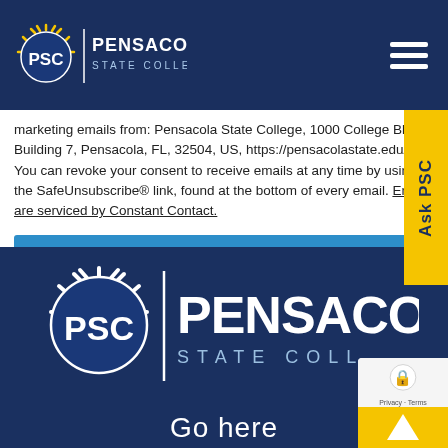Pensacola State College
marketing emails from: Pensacola State College, 1000 College Blvd., Building 7, Pensacola, FL, 32504, US, https://pensacolastate.edu/. You can revoke your consent to receive emails at any time by using the SafeUnsubscribe® link, found at the bottom of every email. Emails are serviced by Constant Contact.
[Figure (other): Sign Up! button — blue rectangular button with white text]
[Figure (logo): Pensacola State College logo — large PSC sunburst and wordmark on dark navy background footer]
Go here